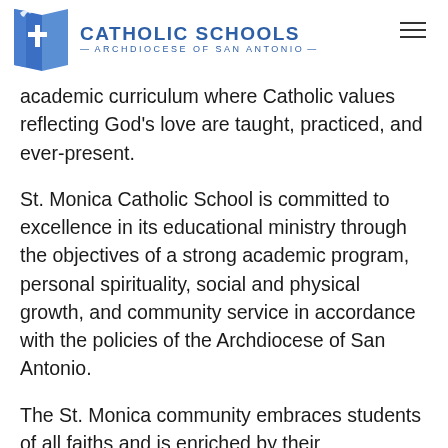CATHOLIC SCHOOLS — ARCHDIOCESE OF SAN ANTONIO —
academic curriculum where Catholic values reflecting God's love are taught, practiced, and ever-present.
St. Monica Catholic School is committed to excellence in its educational ministry through the objectives of a strong academic program, personal spirituality, social and physical growth, and community service in accordance with the policies of the Archdiocese of San Antonio.
The St. Monica community embraces students of all faiths and is enriched by their